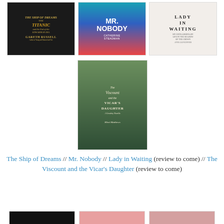[Figure (illustration): Book cover: The Ship of Dreams / The Titanic and the End of the Edwardian Era by Gareth Russell - dark background with gold text]
[Figure (illustration): Book cover: Mr. Nobody by Catherine Steadman - ocean wave with blue and red gradient]
[Figure (illustration): Book cover: Lady in Waiting by Anne Glenconner - white/grey background with elegant typography]
[Figure (illustration): Book cover: The Viscount and the Vicar's Daughter by Mimi Matthews - woman in Victorian dress with dark green teal skirt]
The Ship of Dreams // Mr. Nobody // Lady in Waiting (review to come) // The Viscount and the Vicar's Daughter (review to come)
[Figure (illustration): Partial book cover - dark/black]
[Figure (illustration): Partial book cover - pinkish/warm tones]
[Figure (illustration): Partial book cover - warm tones]